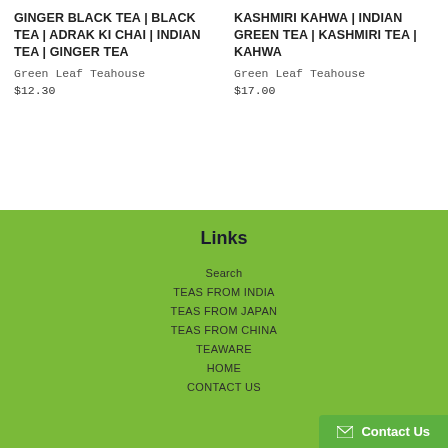GINGER BLACK TEA | BLACK TEA | ADRAK KI CHAI | INDIAN TEA | GINGER TEA
Green Leaf Teahouse
$12.30
KASHMIRI KAHWA | INDIAN GREEN TEA | KASHMIRI TEA | KAHWA
Green Leaf Teahouse
$17.00
Links
Search
TEAS FROM INDIA
TEAS FROM JAPAN
TEAS FROM CHINA
TEAWARE
HOME
CONTACT US
Contact Us